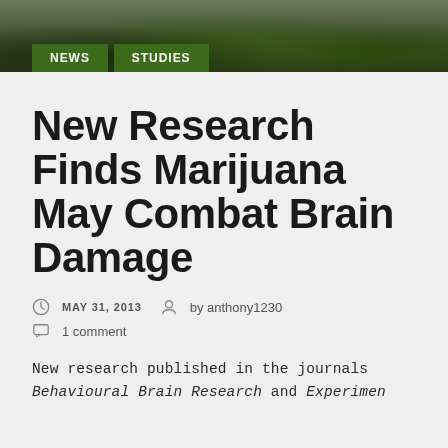[Figure (photo): Outdoor nature/trees scene photo used as header image banner]
NEWS   STUDIES
New Research Finds Marijuana May Combat Brain Damage
MAY 31, 2013   by anthony1230
1 comment
New research published in the journals Behavioural Brain Research and Experimen